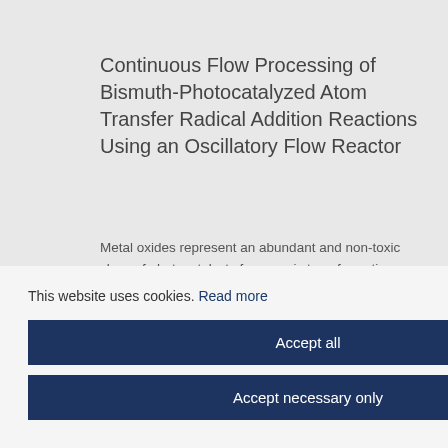Continuous Flow Processing of Bismuth-Photocatalyzed Atom Transfer Radical Addition Reactions Using an Oscillatory Flow Reactor
Metal oxides represent an abundant and non-toxic class of photocatalysts for organic transformations. However, their use in larger scale processes is complicated by incompatibilities with continuous flow processing – a proven scale-up route for photochemistry. We detail the development of an efficient atom transfer radical addition protocol using a sustainable solvent system (acetone : PEG 400) and a low loading (2 mol%) of Bi2O3, which can be handled in an oscillatory flow reactor. Optimization of the reaction and oscillatory parameters led to high throughput with a process mass also facilitates high ield), and was nge of other erate to excellent
This website uses cookies. Read more
Accept all
Accept necessary only